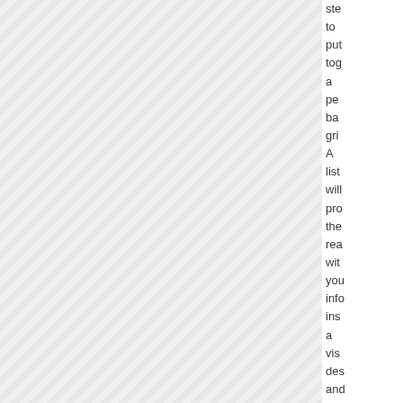ste
to
put
tog
a
pe
ba
gri
A
list
will
pro
the
rea
wit
you
info
ins
a
vis
des
and
sim
to
pro